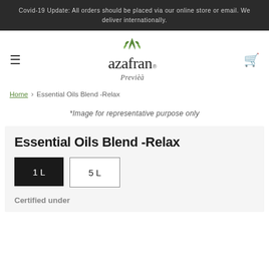Covid-19 Update: All orders should be placed via our online store or email. We deliver internationally.
[Figure (logo): Azafran Previe logo with green leaf icon above the brand name]
Home › Essential Oils Blend -Relax
*Image for representative purpose only
Essential Oils Blend -Relax
1 L  5 L
Certified under